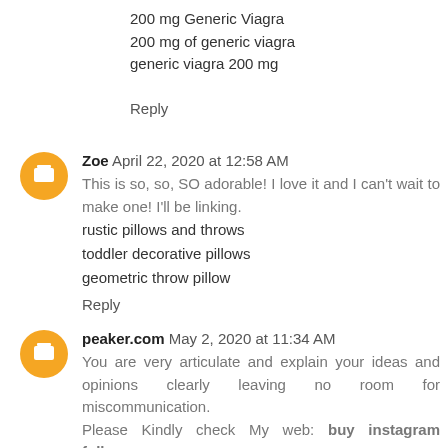200 mg Generic Viagra
200 mg of generic viagra
generic viagra 200 mg
Reply
Zoe  April 22, 2020 at 12:58 AM
This is so, so, SO adorable! I love it and I can't wait to make one! I'll be linking.
rustic pillows and throws
toddler decorative pillows
geometric throw pillow
Reply
peaker.com  May 2, 2020 at 11:34 AM
You are very articulate and explain your ideas and opinions clearly leaving no room for miscommunication.
Please Kindly check My web: buy instagram followers
Reply